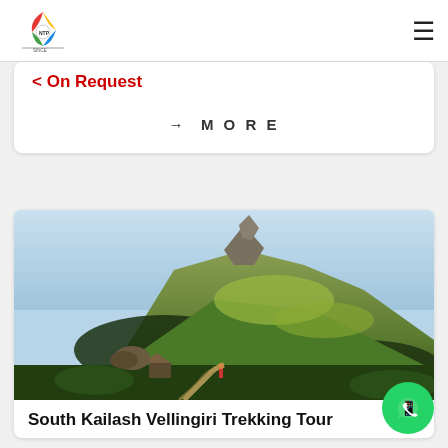NTP logo and hamburger menu
< On Request
→ MORE
[Figure (photo): Mountain landscape showing South Kailash Vellingiri hill with green slopes, rocky terrain, trekking path, and small structure at base. Blue sky in background.]
South Kailash Vellingiri Trekking Tour